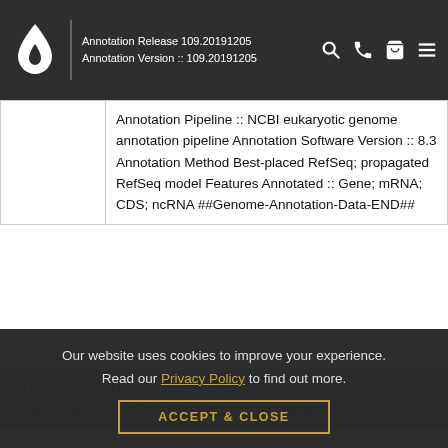Annotation Release 109.20191205 Annotation Version :: 109.20191205
Annotation Pipeline :: NCBI eukaryotic genome annotation pipeline Annotation Software Version :: 8.3 Annotation Method Best-placed RefSeq; propagated RefSeq model Features Annotated :: Gene; mRNA; CDS; ncRNA ##Genome-Annotation-Data-END##
ALAS1 ( XM_024453393.1 ) cDNA ORF clone, Homo sapiens (human) :: XR_024700161.1 Homo sapiens fl...
Our website uses cookies to improve your experience. Read our Privacy Policy to find out more.
ACCEPT & CLOSE